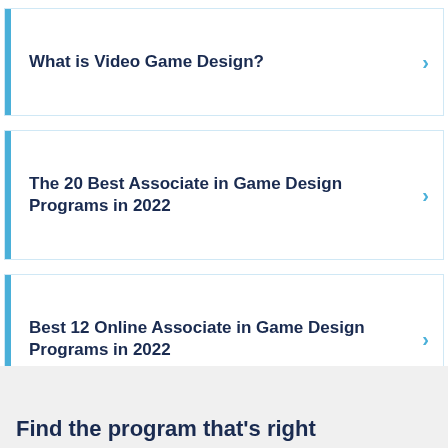What is Video Game Design?
The 20 Best Associate in Game Design Programs in 2022
Best 12 Online Associate in Game Design Programs in 2022
Find the program that's right